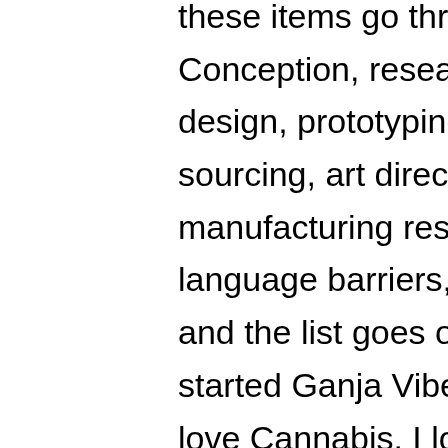these items go through many stages. Conception, research & development, design, prototyping, testing, redesigning, sourcing, art direction, sourcing certifiable manufacturing resources abroad, language barriers, importing/exporting and the list goes on. This all takes time. I started Ganja Vibes because I absolutely love Cannabis. I love the lifestyle, I love the people, I love the opportunities. I love the smell, taste and effects of well grown marijuana plants. I love the ultimate results of very little to no negative impact, down side or challenge presented against the morals and ethics associated with being involved with Cannabis as a product